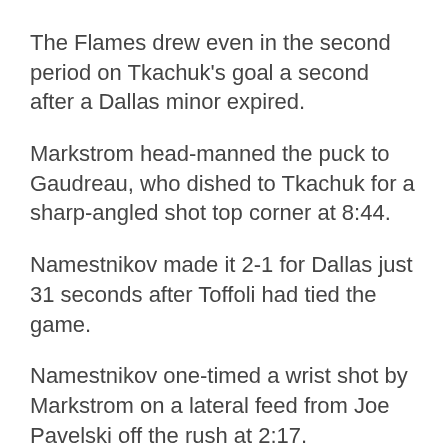The Flames drew even in the second period on Tkachuk's goal a second after a Dallas minor expired.
Markstrom head-manned the puck to Gaudreau, who dished to Tkachuk for a sharp-angled shot top corner at 8:44.
Namestnikov made it 2-1 for Dallas just 31 seconds after Toffoli had tied the game.
Namestnikov one-timed a wrist shot by Markstrom on a lateral feed from Joe Pavelski off the rush at 2:17.
Toffoli tipped in Oliver Kylington's shot from the boards just inside the blue-line at 1:46.
The Flames were trailing Dallas 1-0 in the first...